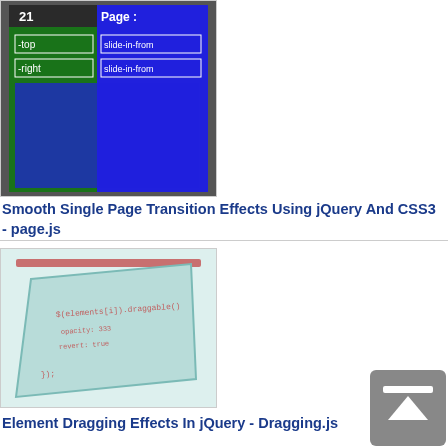[Figure (screenshot): Screenshot of a mobile app showing page transition effects with green and blue backgrounds, text labels '-top', '-right', 'slide-in-from' on the right side, and number '21' visible in top left. Appears to be a jQuery page.js demo.]
Smooth Single Page Transition Effects Using jQuery And CSS3 - page.js
[Figure (screenshot): Screenshot showing a tilted light teal/aqua card with code text visible, including references to elements and CSS properties like opacity and transition. A reddish bar visible at top.]
Element Dragging Effects In jQuery - Dragging.js